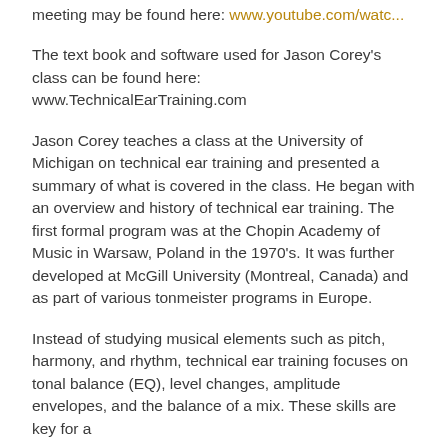meeting may be found here: www.youtube.com/watc...
The text book and software used for Jason Corey's class can be found here: www.TechnicalEarTraining.com
Jason Corey teaches a class at the University of Michigan on technical ear training and presented a summary of what is covered in the class. He began with an overview and history of technical ear training. The first formal program was at the Chopin Academy of Music in Warsaw, Poland in the 1970's. It was further developed at McGill University (Montreal, Canada) and as part of various tonmeister programs in Europe.
Instead of studying musical elements such as pitch, harmony, and rhythm, technical ear training focuses on tonal balance (EQ), level changes, amplitude envelopes, and the balance of a mix. These skills are key for a